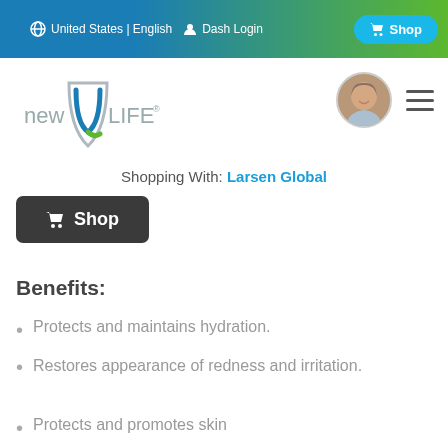United States | English   Dash Login   Shop
[Figure (logo): New U Life logo with shield and stylized U]
[Figure (photo): Circular avatar photo of a smiling older man]
Shopping With: Larsen Global
Shop
Benefits:
Protects and maintains hydration.
Restores appearance of redness and irritation.
Protects and promotes skin...